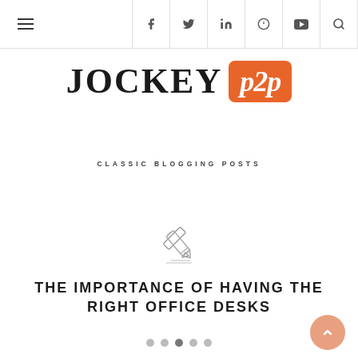Navigation header with hamburger menu and social icons: Facebook, Twitter, LinkedIn, Google+, YouTube, Search
[Figure (logo): JOCKEY p2p logo — JOCKEY in large bold serif text, p2p in white italic on orange rounded rectangle badge]
CLASSIC BLOGGING POSTS
[Figure (illustration): Pencil icon outline illustration]
THE IMPORTANCE OF HAVING THE RIGHT OFFICE DESKS
Pagination dots and scroll-to-top button